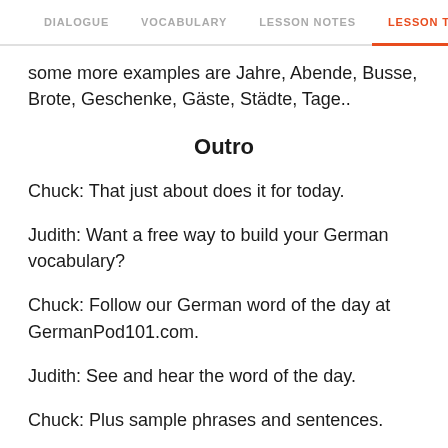DIALOGUE  VOCABULARY  LESSON NOTES  LESSON TRANSCRIPT
some more examples are Jahre, Abende, Busse, Brote, Geschenke, Gäste, Städte, Tage..
Outro
Chuck: That just about does it for today.
Judith: Want a free way to build your German vocabulary?
Chuck: Follow our German word of the day at GermanPod101.com.
Judith: See and hear the word of the day.
Chuck: Plus sample phrases and sentences.